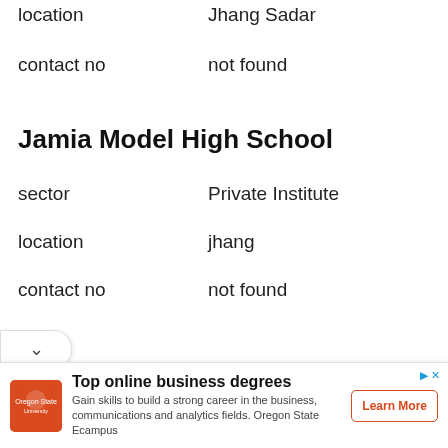location   Jhang Sadal
contact no   not found
Jamia Model High School
sector   Private Institute
location   jhang
contact no   not found
[Figure (other): Advertisement banner: Top online business degrees - Oregon State University Ecampus. Gain skills to build a strong career in the business, communications and analytics fields. Oregon State Ecampus. Learn More button.]